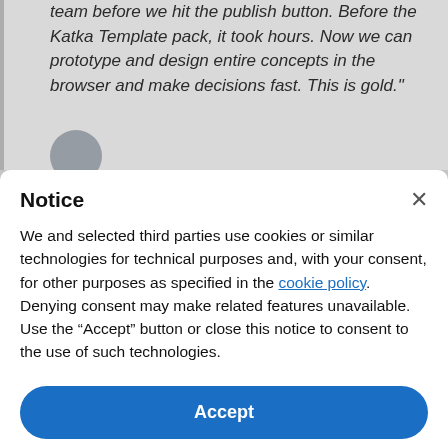team before we hit the publish button. Before the Katka Template pack, it took hours. Now we can prototype and design entire concepts in the browser and make decisions fast. This is gold."
Notice
We and selected third parties use cookies or similar technologies for technical purposes and, with your consent, for other purposes as specified in the cookie policy. Denying consent may make related features unavailable.
Use the “Accept” button or close this notice to consent to the use of such technologies.
Accept
Learn more and customize